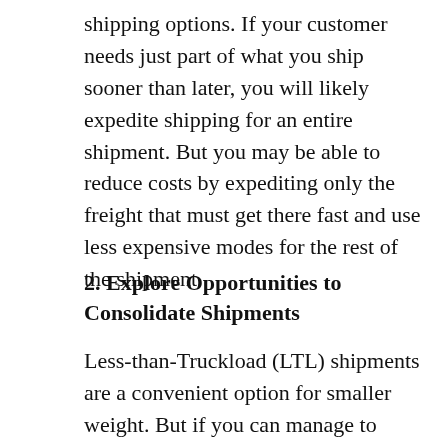shipping options. If your customer needs just part of what you ship sooner than later, you will likely expedite shipping for an entire shipment. But you may be able to reduce costs by expediting only the freight that must get there fast and use less expensive modes for the rest of the shipment.
2. Explore Opportunities to Consolidate Shipments
Less-than-Truckload (LTL) shipments are a convenient option for smaller weight. But if you can manage to consolidate shipments of different products or shipments for different customers into one shipment, you can save